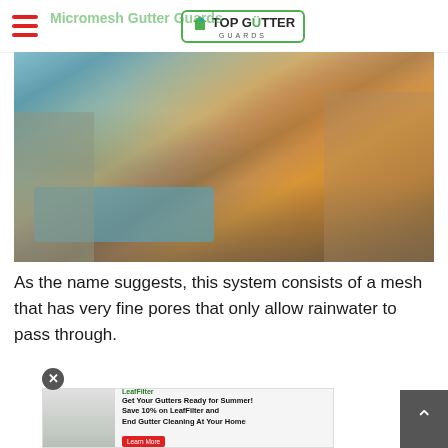Top Gutter Guards
Micromesh Gutter Guards
[Figure (photo): Cross-section illustration of a micromesh gutter guard installed on a house roof, showing water flowing through the fine mesh into the gutter trough, with autumn leaves visible around the gutter]
As the name suggests, this system consists of a mesh that has very fine pores that only allow rainwater to pass through.
[Figure (other): Advertisement banner for LeafFilter: Save 10% on LeafFilter and End Gutter Cleaning At Your Home, with a close button and a Learn More button]